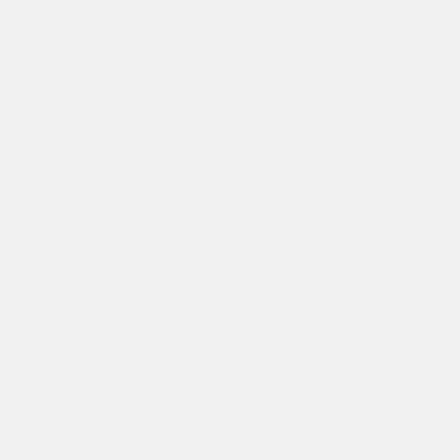align=left >View Larger Map</a> </small>)>>-->
=== Hotel ===
=== Hotel ===
The symposium will be held at the Indiana University Memorial Union.
<<html(<iframe width="425" height="350" frameborder="0" scrolling="no" marginheight="0" marginwidth="0
'''Indiana Memorial Union (IMU)'''